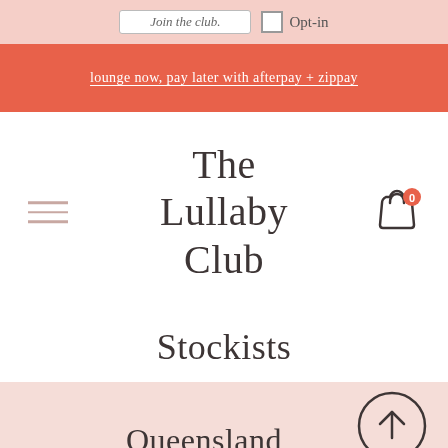Join the club. Opt-in
lounge now, pay later with afterpay + zippay
The Lullaby Club
Stockists
Queensland